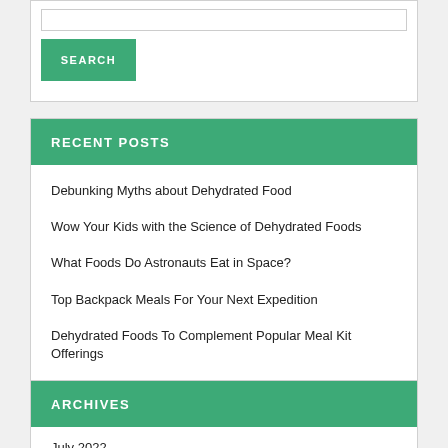[Figure (screenshot): Search bar with input field at top]
SEARCH
RECENT POSTS
Debunking Myths about Dehydrated Food
Wow Your Kids with the Science of Dehydrated Foods
What Foods Do Astronauts Eat in Space?
Top Backpack Meals For Your Next Expedition
Dehydrated Foods To Complement Popular Meal Kit Offerings
ARCHIVES
July 2022